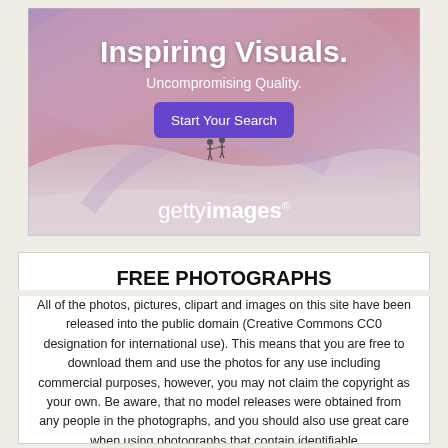[Figure (illustration): Getty Images advertisement banner with purple-pink gradient background showing two small figures on a snowy landscape. Text reads 'Inspiring Visuals. Uncompromising Quality.' with a purple 'Start Your Search' button and the gettyimages logo at the bottom.]
FREE PHOTOGRAPHS
All of the photos, pictures, clipart and images on this site have been released into the public domain (Creative Commons CC0 designation for international use). This means that you are free to download them and use the photos for any use including commercial purposes, however, you may not claim the copyright as your own. Be aware, that no model releases were obtained from any people in the photographs, and you should also use great care when using photographs that contain identifiable